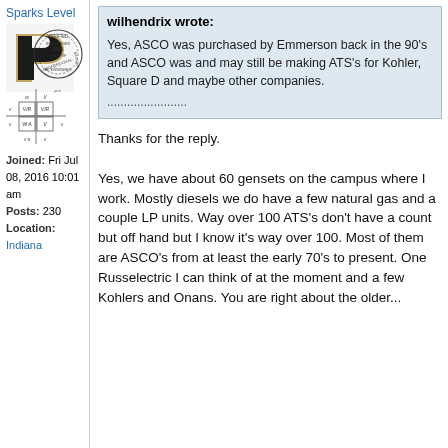Sparks Level
[Figure (illustration): Purdue University P logo overlaid with a Professional Engineer stamp and an electrical circuit symbol diagram]
Joined: Fri Jul 08, 2016 10:01 am
Posts: 230
Location: Indiana
wilhendrix wrote:
Yes, ASCO was purchased by Emmerson back in the 90's and ASCO was and may still be making ATS's for Kohler, Square D and maybe other companies.
......................
Thanks for the reply.

Yes, we have about 60 gensets on the campus where I work. Mostly diesels we do have a few natural gas and a couple LP units. Way over 100 ATS's don't have a count but off hand but I know it's way over 100. Most of them are ASCO's from at least the early 70's to present. One Russelectric I can think of at the moment and a few Kohlers and Onans. You are right about the older...